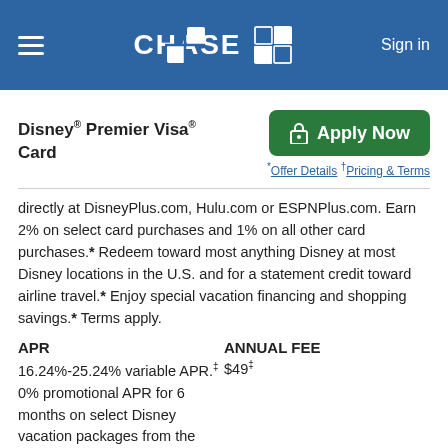CHASE
Disney® Premier Visa® Card
[Figure (other): Apply Now green button with lock icon]
* Offer Details † Pricing & Terms
directly at DisneyPlus.com, Hulu.com or ESPNPlus.com. Earn 2% on select card purchases and 1% on all other card purchases.* Redeem toward most anything Disney at most Disney locations in the U.S. and for a statement credit toward airline travel.* Enjoy special vacation financing and shopping savings.* Terms apply.
| APR | ANNUAL FEE |
| --- | --- |
| 16.24%-25.24% variable APR.‡ 0% promotional APR for 6 months on select Disney vacation packages from the date of purchase, after that a | $49‡ |